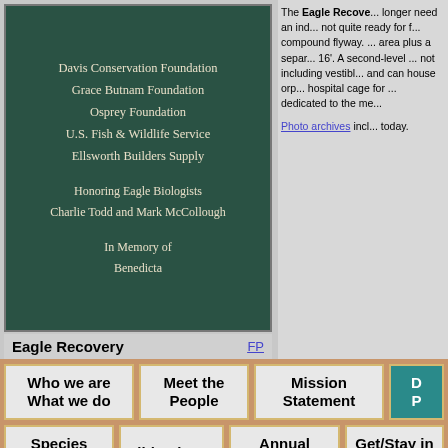[Figure (photo): Dark green plaque with white serif text listing donors: Davis Conservation Foundation, Grace Butnam Foundation, Osprey Foundation, U.S. Fish & Wildlife Service, Ellsworth Builders Supply, Honoring Eagle Biologists Charlie Todd and Mark McCollough, In Memory of Benedicta]
Eagle Recovery  FP
The Eagle Recovery... longer need an individual... not quite ready for full... compound flyway... area plus a separate... 16'. A second-level... not including vestib... and can house orp... hospital cage for ... dedicated to the me...
Photo archives incl... today.
Who we are  What we do
Meet the People
Mission Statement
D P
Species Gallery
Slide Shows
Annual Reports
Get/Stay in Touch
Copyright © 2004-2022 All Rights Reserved